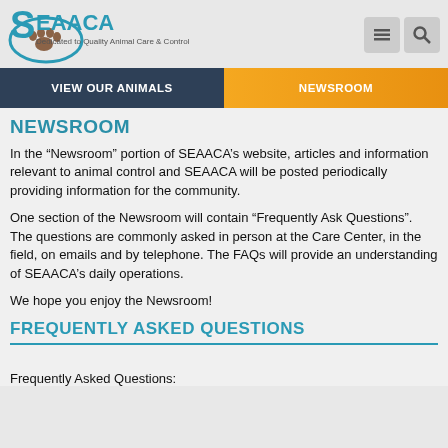[Figure (logo): SEAACA logo with paw print and text 'Dedicated to Quality Animal Care & Control']
VIEW OUR ANIMALS | NEWSROOM
NEWSROOM
In the “Newsroom” portion of SEAACA’s website, articles and information relevant to animal control and SEAACA will be posted periodically providing information for the community.
One section of the Newsroom will contain “Frequently Ask Questions”. The questions are commonly asked in person at the Care Center, in the field, on emails and by telephone. The FAQs will provide an understanding of SEAACA’s daily operations.
We hope you enjoy the Newsroom!
FREQUENTLY ASKED QUESTIONS
Frequently Asked Questions: